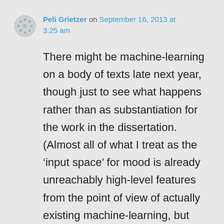Peli Grietzer on September 16, 2013 at 3:25 am
There might be machine-learning on a body of texts late next year, though just to see what happens rather than as substantiation for the work in the dissertation. (Almost all of what I treat as the ‘input space’ for mood is already unreachably high-level features from the point of view of actually existing machine-learning, but sometimes ML is good at replicating really abstract distinctions without nailing the intermediary levels.)